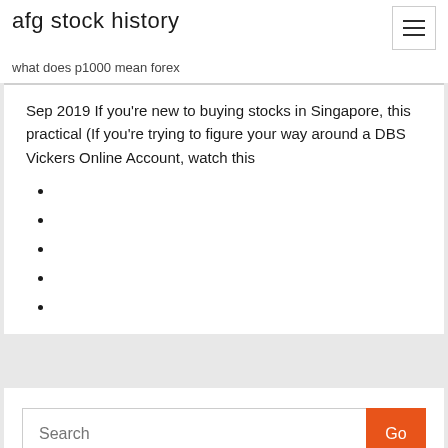afg stock history
what does p1000 mean forex
Sep 2019 If you're new to buying stocks in Singapore, this practical (If you're trying to figure your way around a DBS Vickers Online Account, watch this